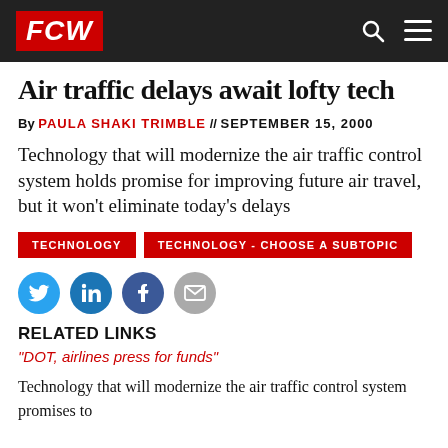FCW
Air traffic delays await lofty tech
By PAULA SHAKI TRIMBLE // SEPTEMBER 15, 2000
Technology that will modernize the air traffic control system holds promise for improving future air travel, but it won't eliminate today's delays
TECHNOLOGY   TECHNOLOGY - CHOOSE A SUBTOPIC
[Figure (infographic): Social sharing icons: Twitter, LinkedIn, Facebook, Email]
RELATED LINKS
"DOT, airlines press for funds"
Technology that will modernize the air traffic control system promises to